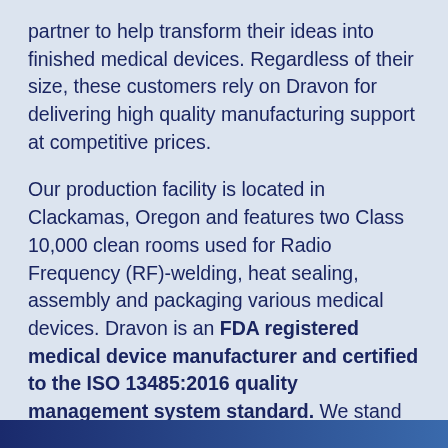partner to help transform their ideas into finished medical devices. Regardless of their size, these customers rely on Dravon for delivering high quality manufacturing support at competitive prices.
Our production facility is located in Clackamas, Oregon and features two Class 10,000 clean rooms used for Radio Frequency (RF)-welding, heat sealing, assembly and packaging various medical devices. Dravon is an FDA registered medical device manufacturer and certified to the ISO 13485:2016 quality management system standard. We stand ready to help so if you need to discuss contract manufacturing support with a partner you can count on, please contact us any time at (503) 656-6600 or sales@dravon.com.